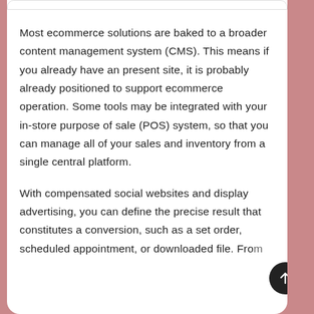Most ecommerce solutions are baked to a broader content management system (CMS). This means if you already have an present site, it is probably already positioned to support ecommerce operation. Some tools may be integrated with your in-store purpose of sale (POS) system, so that you can manage all of your sales and inventory from a single central platform.
With compensated social websites and display advertising, you can define the precise result that constitutes a conversion, such as a set order, scheduled appointment, or downloaded file. From the...